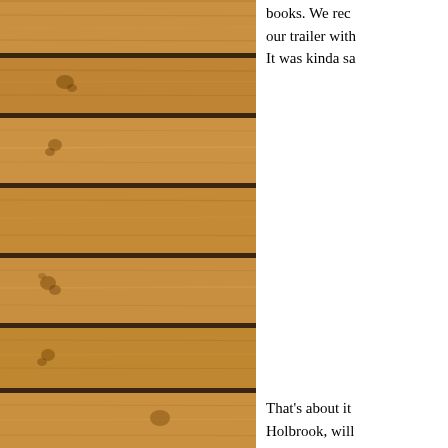[Figure (photo): Horizontal wooden planks/boards with natural wood grain texture and knots, warm brown color, occupying the left ~60% of the page]
books. We rec our trailer with It was kinda sa
Breeding seaso girlfriends are what we can d always willing
That's about it Holbrook, will